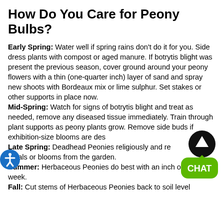How Do You Care for Peony Bulbs?
Early Spring: Water well if spring rains don't do it for you. Side dress plants with compost or aged manure. If botrytis blight was present the previous season, cover ground around your peony flowers with a thin (one-quarter inch) layer of sand and spray new shoots with Bordeaux mix or lime sulphur. Set stakes or other supports in place now.
Mid-Spring: Watch for signs of botrytis blight and treat as needed, remove any diseased tissue immediately. Train through plant supports as peony plants grow. Remove side buds if exhibition-size blooms are desired.
Late Spring: Deadhead Peonies religiously and remove fallen petals or blooms from the garden.
Summer: Herbaceous Peonies do best with an inch of water a week.
Fall: Cut stems of Herbaceous Peonies back to soil level
[Figure (infographic): Chat widget with green bubble and up-arrow icon, and blue accessibility icon]